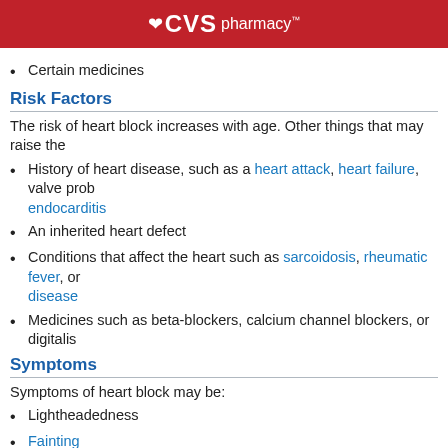CVS pharmacy
Certain medicines
Risk Factors
The risk of heart block increases with age. Other things that may raise the
History of heart disease, such as a heart attack, heart failure, valve prob... endocarditis
An inherited heart defect
Conditions that affect the heart such as sarcoidosis, rheumatic fever, or... disease
Medicines such as beta-blockers, calcium channel blockers, or digitalis
Symptoms
Symptoms of heart block may be:
Lightheadedness
Fainting
Chest pain
Problems breathing
Diagnosis
Your doctor will ask about symptoms and past health. A physical exam wil... heart doctor may make the diagnosis.